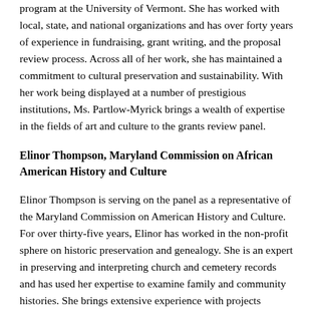program at the University of Vermont. She has worked with local, state, and national organizations and has over forty years of experience in fundraising, grant writing, and the proposal review process. Across all of her work, she has maintained a commitment to cultural preservation and sustainability. With her work being displayed at a number of prestigious institutions, Ms. Partlow-Myrick brings a wealth of expertise in the fields of art and culture to the grants review panel.
Elinor Thompson, Maryland Commission on African American History and Culture
Elinor Thompson is serving on the panel as a representative of the Maryland Commission on American History and Culture. For over thirty-five years, Elinor has worked in the non-profit sphere on historic preservation and genealogy. She is an expert in preserving and interpreting church and cemetery records and has used her expertise to examine family and community histories. She brings extensive experience with projects pertaining to cemeteries, community history, and cultural heritage.